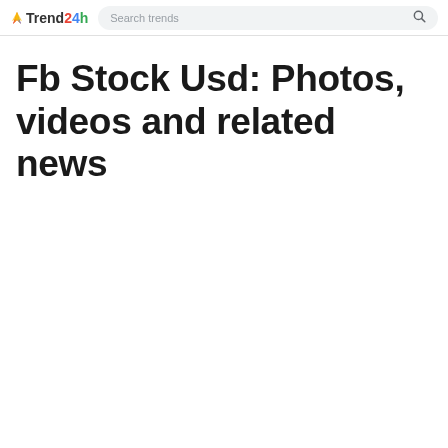Trend24h — Search trends
Fb Stock Usd: Photos, videos and related news